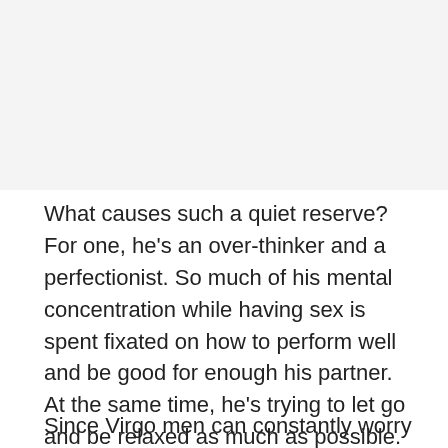[Figure (other): Image placeholder area at top of page]
What causes such a quiet reserve? For one, he's an over-thinker and a perfectionist. So much of his mental concentration while having sex is spent fixated on how to perform well and be good for enough his partner. At the same time, he's trying to let go and be relaxed as much as possible. This can create friction.
Since Virgo men can constantly worry if they're